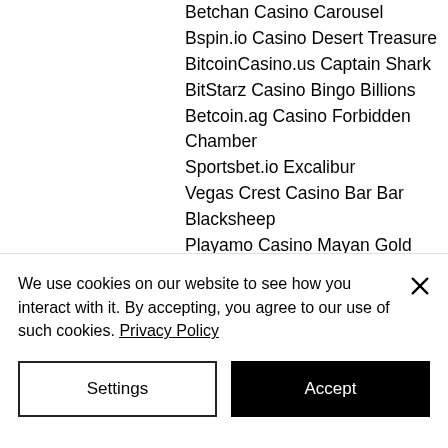Betchan Casino Carousel
Bspin.io Casino Desert Treasure
BitcoinCasino.us Captain Shark
BitStarz Casino Bingo Billions
Betcoin.ag Casino Forbidden Chamber
Sportsbet.io Excalibur
Vegas Crest Casino Bar Bar Blacksheep
Playamo Casino Mayan Gold
CryptoGames Viva las Vegas
https://www.asimpleleap.com/profile/chelsiegjokaj7086465/profile
https://www.gracecov.co.za/profile/jessilasseter18309115/profile
https://www.sportyfilm.no/profile/braindeason
We use cookies on our website to see how you interact with it. By accepting, you agree to our use of such cookies. Privacy Policy
Settings
Accept